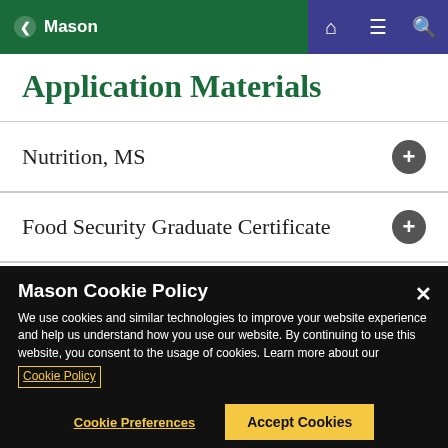Mason
Application Materials
Nutrition, MS
Food Security Graduate Certificate
Nutrition Graduate Certificate
Mason Cookie Policy
We use cookies and similar technologies to improve your website experience and help us understand how you use our website. By continuing to use this website, you consent to the usage of cookies. Learn more about our Cookie Policy
Cookie Preferences
Accept Cookies